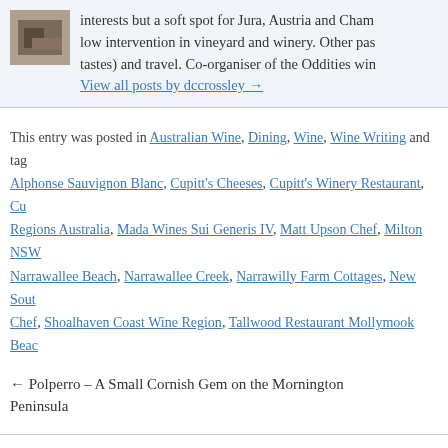[Figure (photo): Author photo thumbnail - tattooed arm visible]
interests but a soft spot for Jura, Austria and Cham low intervention in vineyard and winery. Other pas tastes) and travel. Co-organiser of the Oddities win
View all posts by dccrossley →
This entry was posted in Australian Wine, Dining, Wine, Wine Writing and tagged Alphonse Sauvignon Blanc, Cupitt's Cheeses, Cupitt's Winery Restaurant, Cu Regions Australia, Mada Wines Sui Generis IV, Matt Upson Chef, Milton NSW Narrawallee Beach, Narrawallee Creek, Narrawilly Farm Cottages, New Sout Chef, Shoalhaven Coast Wine Region, Tallwood Restaurant Mollymook Beac
← Polperro – A Small Cornish Gem on the Mornington Peninsula
Leave a Reply
Your email address will not be published. Required fields are m
Comment *